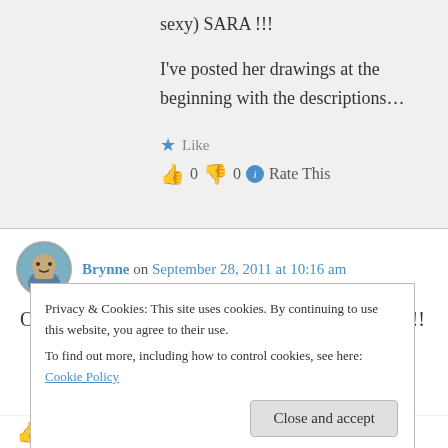sexy) SARA !!!

I've posted her drawings at the beginning with the descriptions…
Like
👍 0 👎 0 ℹ Rate This
Brynne on September 28, 2011 at 10:16 am
Oh my GOOOOODness!!! BEAUTIFUL, Sara!!
Privacy & Cookies: This site uses cookies. By continuing to use this website, you agree to their use.
To find out more, including how to control cookies, see here: Cookie Policy
Close and accept
👍 0 👎 0 ℹ Rate This